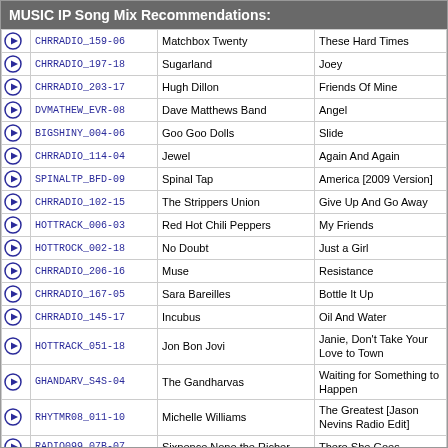MUSIC IP Song Mix Recommendations:
|  | ID | Artist | Song |
| --- | --- | --- | --- |
| ▶ | CHRRADIO_159-06 | Matchbox Twenty | These Hard Times |
| ▶ | CHRRADIO_197-18 | Sugarland | Joey |
| ▶ | CHRRADIO_203-17 | Hugh Dillon | Friends Of Mine |
| ▶ | DVMATHEW_EVR-08 | Dave Matthews Band | Angel |
| ▶ | BIGSHINY_004-06 | Goo Goo Dolls | Slide |
| ▶ | CHRRADIO_114-04 | Jewel | Again And Again |
| ▶ | SPINALTP_BFD-09 | Spinal Tap | America [2009 Version] |
| ▶ | CHRRADIO_102-15 | The Strippers Union | Give Up And Go Away |
| ▶ | HOTTRACK_006-03 | Red Hot Chili Peppers | My Friends |
| ▶ | HOTTROCK_002-18 | No Doubt | Just a Girl |
| ▶ | CHRRADIO_206-16 | Muse | Resistance |
| ▶ | CHRRADIO_167-05 | Sara Bareilles | Bottle It Up |
| ▶ | CHRRADIO_145-17 | Incubus | Oil And Water |
| ▶ | HOTTRACK_051-18 | Jon Bon Jovi | Janie, Don't Take Your Love to Town |
| ▶ | GHANDARV_S4S-04 | The Gandharvas | Waiting for Something to Happen |
| ▶ | RHYTMR08_011-10 | Michelle Williams | The Greatest [Jason Nevins Radio Edit] |
| ▶ | RADIO099_07B-07 | Sixpence None the Richer | There She Goes |
| ▶ | BIGSHINY_005-01 | Matchbox Twenty | Bent |